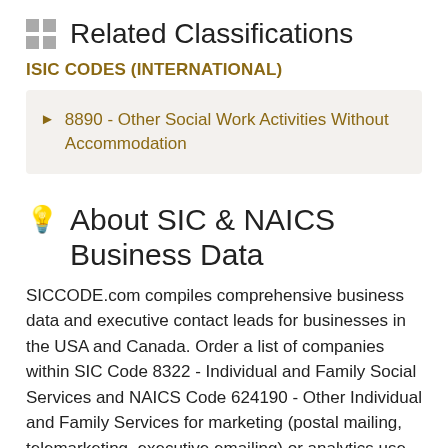Related Classifications
ISIC CODES (INTERNATIONAL)
8890 - Other Social Work Activities Without Accommodation
About SIC & NAICS Business Data
SICCODE.com compiles comprehensive business data and executive contact leads for businesses in the USA and Canada. Order a list of companies within SIC Code 8322 - Individual and Family Social Services and NAICS Code 624190 - Other Individual and Family Services for marketing (postal mailing, telemarketing, executive emailing) or analytics use. Our data analysts